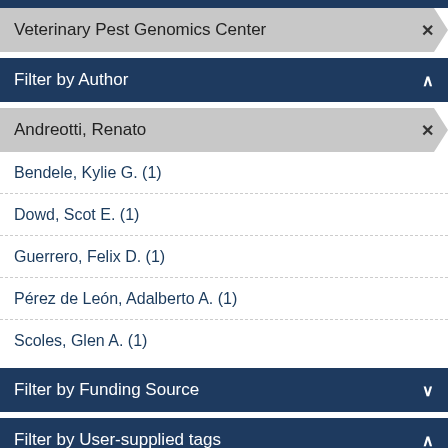Veterinary Pest Genomics Center ✕
Filter by Author ∧
Andreotti, Renato ✕
Bendele, Kylie G. (1)
Dowd, Scot E. (1)
Guerrero, Felix D. (1)
Pérez de León, Adalberto A. (1)
Scoles, Glen A. (1)
Filter by Funding Source ∨
Filter by User-supplied tags ∧
pyrosequencing ✕
sequence analysis ✕